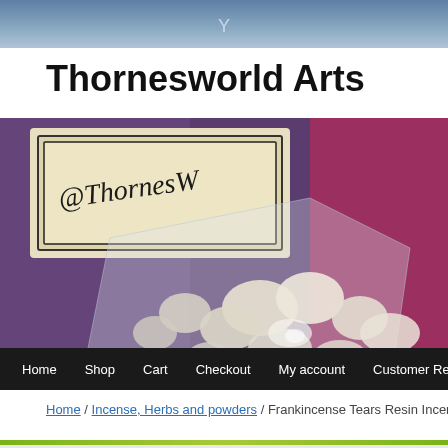Thornesworld Arts website header with decorative bar
Thornesworld Arts
[Figure (photo): A clear plastic bag of frankincense resin tears/crystals displayed on purple fabric, with a wooden stamp labeled @ThornesWorld visible in the upper left corner of the product photo.]
Home / Shop / Cart / Checkout / My account / Customer Reviews
Home / Incense, Herbs and powders / Frankincense Tears Resin Incen...